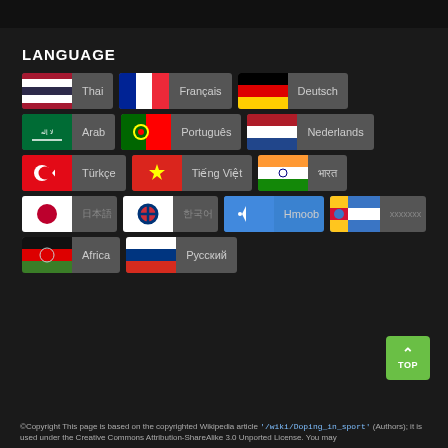LANGUAGE
Thai
Français
Deutsch
Arab
Português
Nederlands
Türkçe
Tiếng Việt
भारत
日本語
한국어
Hmoob
xxxxxxx
Africa
Русский
©Copyright This page is based on the copyrighted Wikipedia article '/wiki/Doping_in_sport' (Authors); it is used under the Creative Commons Attribution-ShareAlike 3.0 Unported License. You may